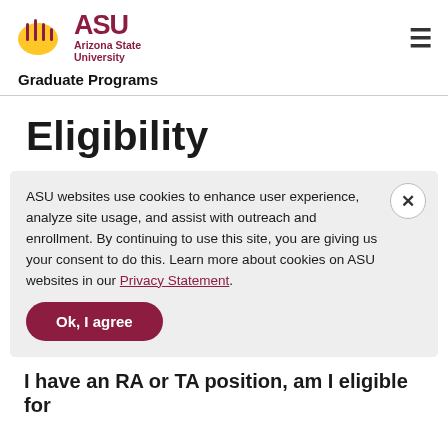ASU Arizona State University
Graduate Programs
Eligibility
ASU websites use cookies to enhance user experience, analyze site usage, and assist with outreach and enrollment. By continuing to use this site, you are giving us your consent to do this. Learn more about cookies on ASU websites in our Privacy Statement.
Ok, I agree
I have an RA or TA position, am I eligible for